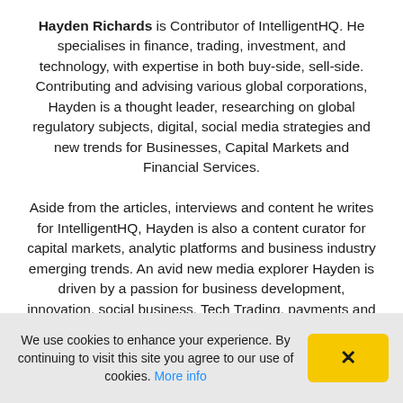Hayden Richards is Contributor of IntelligentHQ. He specialises in finance, trading, investment, and technology, with expertise in both buy-side, sell-side. Contributing and advising various global corporations, Hayden is a thought leader, researching on global regulatory subjects, digital, social media strategies and new trends for Businesses, Capital Markets and Financial Services. Aside from the articles, interviews and content he writes for IntelligentHQ, Hayden is also a content curator for capital markets, analytic platforms and business industry emerging trends. An avid new media explorer Hayden is driven by a passion for business development, innovation, social business, Tech Trading, payments and eCommerce. A native Trinidadian, Hayden is also a veteran, having served with the Royal Air Force Reserves for the past 10 years.
We use cookies to enhance your experience. By continuing to visit this site you agree to our use of cookies. More info